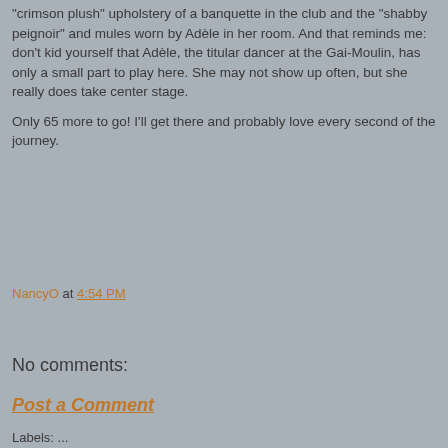"crimson plush" upholstery of a banquette in the club and the "shabby peignoir" and mules worn by Adèle in her room.  And that reminds me:  don't kid yourself that Adèle, the titular dancer at the Gai-Moulin,  has only a small part to play here.  She may not show up often, but she really does take center stage.
Only 65 more to go!  I'll get there and probably love every second of  the journey.
NancyO at 4:54 PM
Share
No comments:
Post a Comment
Labels: ...